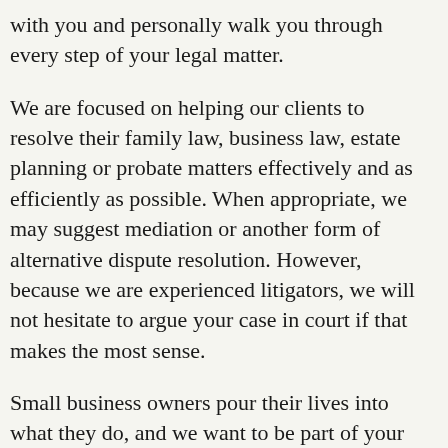with you and personally walk you through every step of your legal matter.
We are focused on helping our clients to resolve their family law, business law, estate planning or probate matters effectively and as efficiently as possible. When appropriate, we may suggest mediation or another form of alternative dispute resolution. However, because we are experienced litigators, we will not hesitate to argue your case in court if that makes the most sense.
Small business owners pour their lives into what they do, and we want to be part of your success story. If you are starting or expanding your business, or if you are considering selling it, you need to have a solid legal team in place to make sure all your bases are covered.